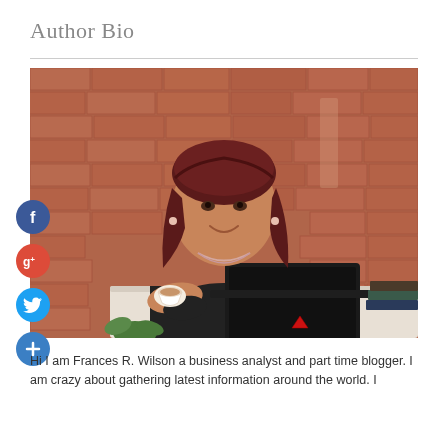Author Bio
[Figure (photo): Woman with dark red hair sitting at a table in front of a brick wall, holding a coffee cup and with a laptop open in front of her. Social media icons (Facebook, Google+, Twitter, plus) are overlaid on the left side.]
Hi I am Frances R. Wilson a business analyst and part time blogger. I am crazy about gathering latest information around the world. I